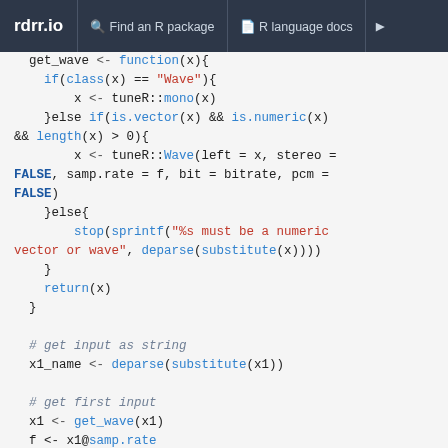rdrr.io   Find an R package   R language docs
get_wave <- function(x){
    if(class(x) == "Wave"){
        x <- tuneR::mono(x)
    }else if(is.vector(x) && is.numeric(x)
&& length(x) > 0){
        x <- tuneR::Wave(left = x, stereo =
FALSE, samp.rate = f, bit = bitrate, pcm =
FALSE)
    }else{
        stop(sprintf("%s must be a numeric
vector or wave", deparse(substitute(x))))
    }
    return(x)
  }

  # get input as string
  x1_name <- deparse(substitute(x1))

  # get first input
  x1 <- get_wave(x1)